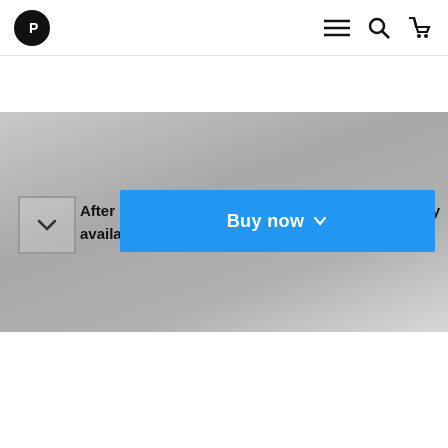[Figure (screenshot): Navigation bar with logo (black circle with white P icon), hamburger menu, search icon, and shopping cart icon]
[Figure (screenshot): Gray gradient section with dropdown arrow box, partially visible text 'After pu...only availa...', and a blue 'Buy now' button with dropdown arrow overlay]
Streamline the editing and concentrate on polishing